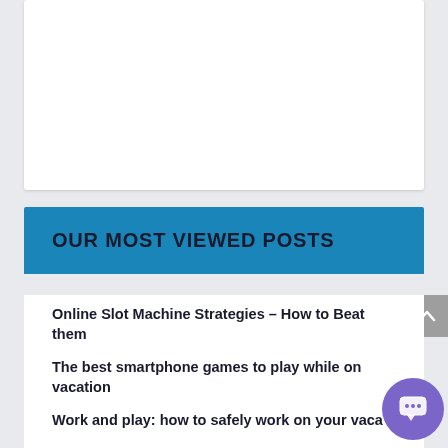[Figure (other): White content card area (blank/empty top section)]
OUR MOST VIEWED POSTS
Online Slot Machine Strategies – How to Beat them
The best smartphone games to play while on vacation
Work and play: how to safely work on your vaca…
World of Hyatt Bonus Journeys is Back with Two